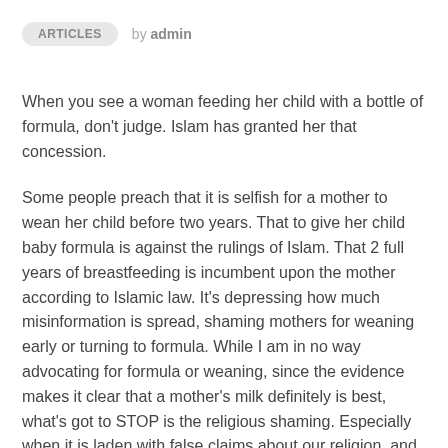ARTICLES by admin
When you see a woman feeding her child with a bottle of formula, don't judge. Islam has granted her that concession.
Some people preach that it is selfish for a mother to wean her child before two years. That to give her child baby formula is against the rulings of Islam. That 2 full years of breastfeeding is incumbent upon the mother according to Islamic law. It's depressing how much misinformation is spread, shaming mothers for weaning early or turning to formula. While I am in no way advocating for formula or weaning, since the evidence makes it clear that a mother's milk definitely is best, what's got to STOP is the religious shaming. Especially when it is laden with false claims about our religion, and